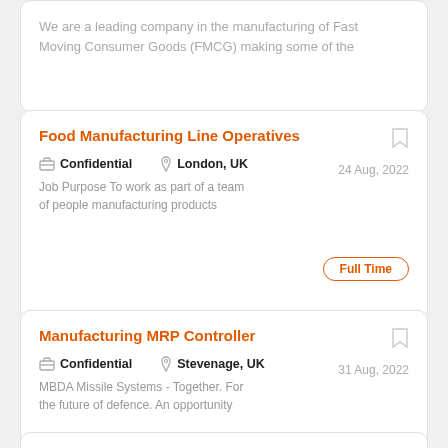We are a leading company in the manufacturing of Fast Moving Consumer Goods (FMCG) making some of the
Food Manufacturing Line Operatives
Confidential   London, UK   24 Aug, 2022   Full Time
Job Purpose To work as part of a team of people manufacturing products
Manufacturing MRP Controller
Confidential   Stevenage, UK   31 Aug, 2022   Full Time
MBDA Missile Systems - Together. For the future of defence. An opportunity
Manufacturing MRP Controller